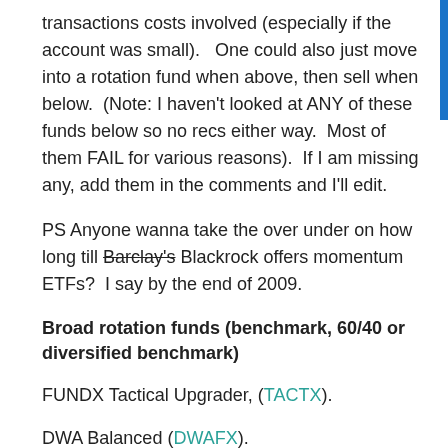transactions costs involved (especially if the account was small).   One could also just move into a rotation fund when above, then sell when below.  (Note: I haven't looked at ANY of these funds below so no recs either way.  Most of them FAIL for various reasons).  If I am missing any, add them in the comments and I'll edit.
PS Anyone wanna take the over under on how long till Barclay's Blackrock offers momentum ETFs?  I say by the end of 2009.
Broad rotation funds (benchmark, 60/40 or diversified benchmark)
FUNDX Tactical Upgrader, (TACTX).
DWA Balanced (DWAFX).